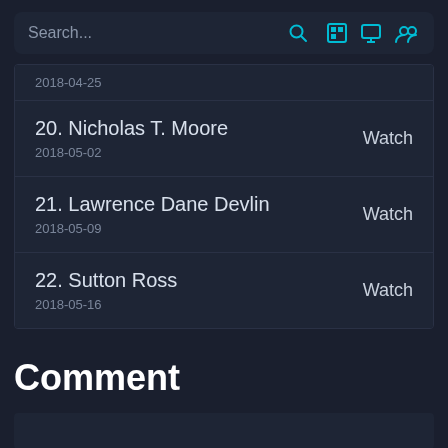Search...
2018-04-25
20. Nicholas T. Moore
2018-05-02
21. Lawrence Dane Devlin
2018-05-09
22. Sutton Ross
2018-05-16
Comment